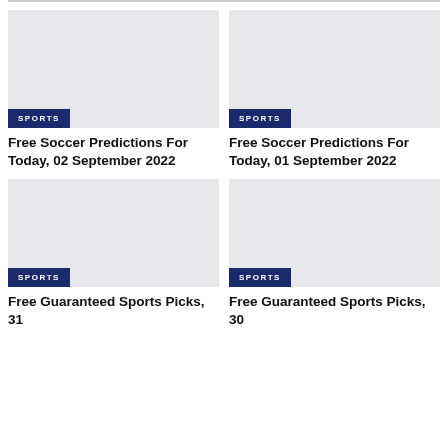[Figure (photo): Gray placeholder image with SPORTS tag overlay]
Free Soccer Predictions For Today, 02 September 2022
[Figure (photo): Gray placeholder image with SPORTS tag overlay]
Free Soccer Predictions For Today, 01 September 2022
[Figure (photo): Gray placeholder image with SPORTS tag overlay]
Free Guaranteed Sports Picks, 31
[Figure (photo): Gray placeholder image with SPORTS tag overlay]
Free Guaranteed Sports Picks, 30